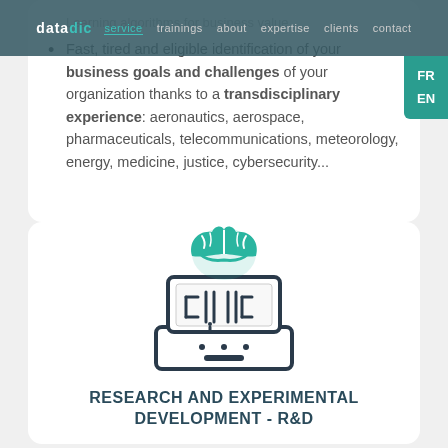data | service | trainings | about | expertise | clients | contact
Fast, tired and reliable identification of your business goals and challenges of your organization thanks to a transdisciplinary experience: aeronautics, aerospace, pharmaceuticals, telecommunications, meteorology, energy, medicine, justice, cybersecurity...
[Figure (illustration): Icon of a laptop with a brain on top, representing AI/machine learning research]
RESEARCH AND EXPERIMENTAL DEVELOPMENT - R&D